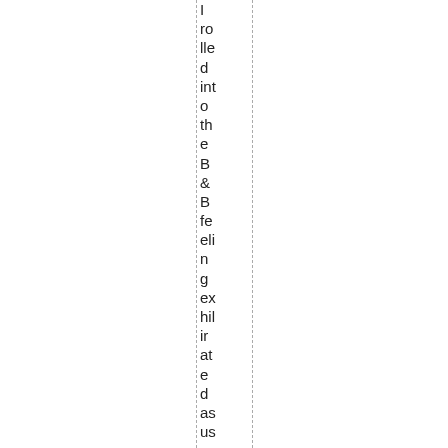I rolled into the B&B feeling exhilarated as usual, ready for